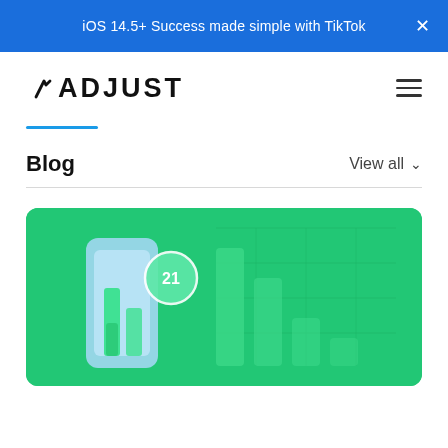iOS 14.5+ Success made simple with TikTok
[Figure (logo): Adjust logo — wordmark in bold black uppercase letters]
Blog
View all
[Figure (illustration): Green background blog card with a bar chart illustration showing bars of varying heights, a circular badge with the number 21, and grid lines on a green background]